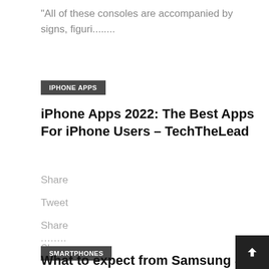“All of these consoles are accompanied by signs, figuri……….
IPHONE APPS
iPhone Apps 2022: The Best Apps For iPhone Users – TechTheLead
Share
Tweet
Share
Share
........
SMARTPHONES
What to expect from Samsung & Google flagship smartphones in 2022 – AndroidMore